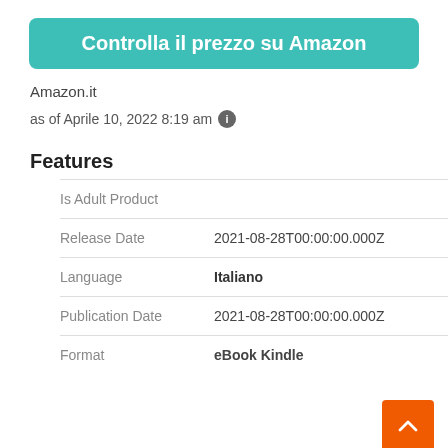Controlla il prezzo su Amazon
Amazon.it
as of Aprile 10, 2022 8:19 am ℹ
Features
| Is Adult Product |  |
| Release Date | 2021-08-28T00:00:00.000Z |
| Language | Italiano |
| Publication Date | 2021-08-28T00:00:00.000Z |
| Format | eBook Kindle |